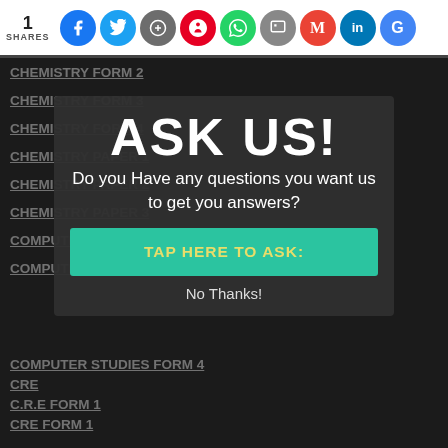1 SHARES — social share icons: Facebook, Twitter, Save, Pinterest, WhatsApp, Print, Gmail, LinkedIn, Google
CHEMISTRY FORM 2
CHEMISTRY FORM 3
CHEMISTRY FORM 4
CHEMISTRY PAPER 1
CHEMISTRY PAPER 2
CHEMISTRY PAPER 3
COMPUTER STUDIES
COMPUTER STUDIES FORM 1
[Figure (infographic): Popup overlay with heading ASK US!, subtitle Do you Have any questions you want us to get you answers?, a teal TAP HERE TO ASK: button, and No Thanks! link]
COMPUTER STUDIES FORM 4
CRE
C.R.E FORM 1
CRE FORM 1
CRE FORM 2
CRE FORM 3